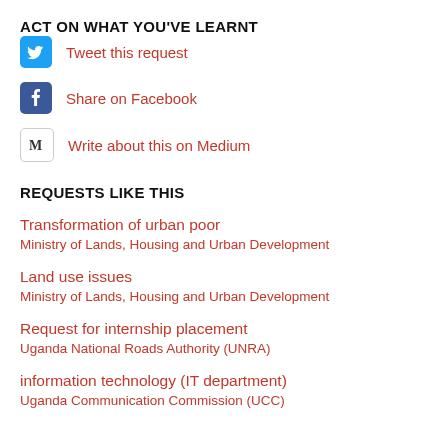ACT ON WHAT YOU'VE LEARNT
Tweet this request
Share on Facebook
Write about this on Medium
REQUESTS LIKE THIS
Transformation of urban poor
Ministry of Lands, Housing and Urban Development
Land use issues
Ministry of Lands, Housing and Urban Development
Request for internship placement
Uganda National Roads Authority (UNRA)
information technology (IT department)
Uganda Communication Commission (UCC)